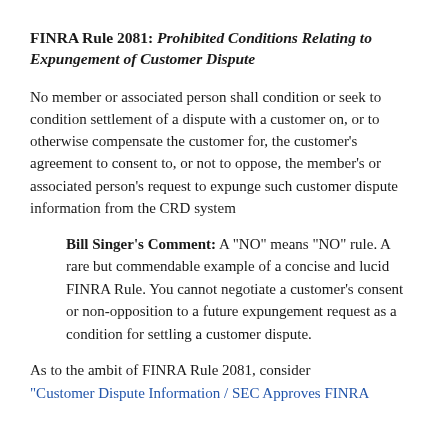FINRA Rule 2081: Prohibited Conditions Relating to Expungement of Customer Dispute
No member or associated person shall condition or seek to condition settlement of a dispute with a customer on, or to otherwise compensate the customer for, the customer's agreement to consent to, or not to oppose, the member's or associated person's request to expunge such customer dispute information from the CRD system
Bill Singer's Comment: A "NO" means "NO" rule. A rare but commendable example of a concise and lucid FINRA Rule. You cannot negotiate a customer's consent or non-opposition to a future expungement request as a condition for settling a customer dispute.
As to the ambit of FINRA Rule 2081, consider "Customer Dispute Information / SEC Approves FINRA